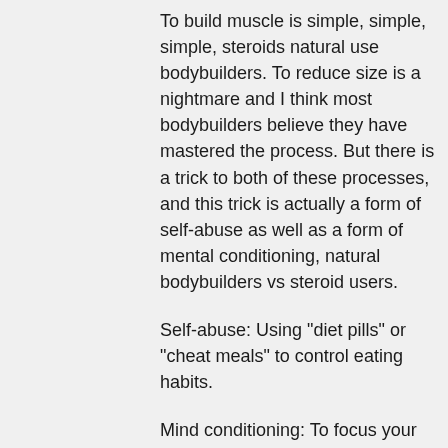To build muscle is simple, simple, simple, steroids natural use bodybuilders. To reduce size is a nightmare and I think most bodybuilders believe they have mastered the process. But there is a trick to both of these processes, and this trick is actually a form of self-abuse as well as a form of mental conditioning, natural bodybuilders vs steroid users.
Self-abuse: Using "diet pills" or "cheat meals" to control eating habits.
Mind conditioning: To focus your mind on training and not what the body is putting out to feed its appetite or what you would like to eat for dinner or something, natural bodybuilders use steroids. What bodybuilders do in the gym is not only physically demanding but psychologically draining – as a result of this physical and psychological breakdown, and compensation